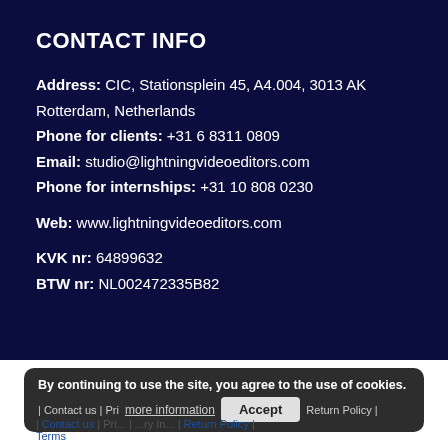CONTACT INFO
Address: CIC, Stationsplein 45, A4.004, 3013 AK Rotterdam, Netherlands
Phone for clients: +31 6 8311 0809
Email: studio@lightningvideoeditors.com
Phone for internships: +31 10 808 0230
Web: www.lightningvideoeditors.com
KVK nr: 64899632
BTW nr: NL002472335B82
By continuing to use the site, you agree to the use of cookies.
more information   Accept
COPYRIGHT 2019 LIGHTNING VIDEO EDITORS | ALL RIGHTS RESERVED | Contact us | Privacy Policy | Delivery Information | Return Policy | Terms